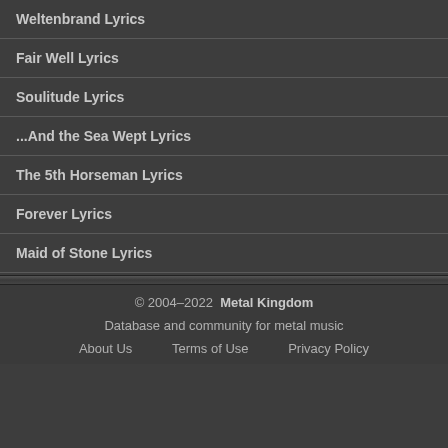Weltenbrand Lyrics
Fair Well Lyrics
Soulitude Lyrics
...And the Sea Wept Lyrics
The 5th Horseman Lyrics
Forever Lyrics
Maid of Stone Lyrics
© 2004–2022 Metal Kingdom
Database and community for metal music
About Us   Terms of Use   Privacy Policy